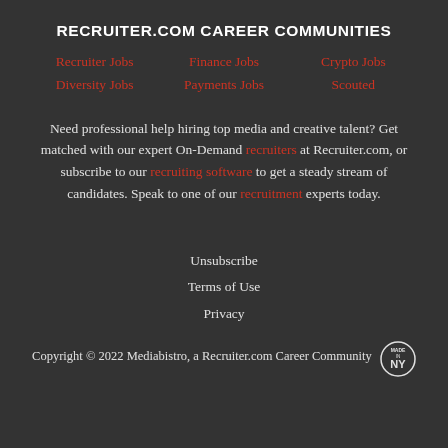RECRUITER.COM CAREER COMMUNITIES
Recruiter Jobs | Finance Jobs | Crypto Jobs | Diversity Jobs | Payments Jobs | Scouted
Need professional help hiring top media and creative talent? Get matched with our expert On-Demand recruiters at Recruiter.com, or subscribe to our recruiting software to get a steady stream of candidates. Speak to one of our recruitment experts today.
Unsubscribe
Terms of Use
Privacy
Copyright © 2022 Mediabistro, a Recruiter.com Career Community